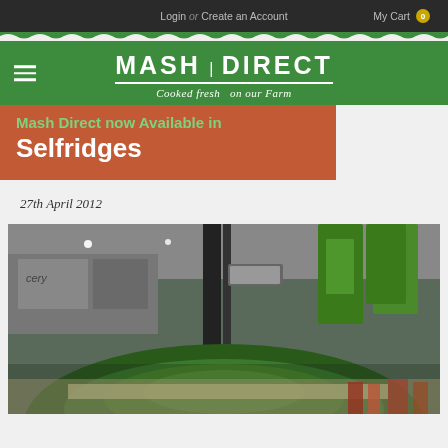Login or Create an Account   My Cart 0
[Figure (logo): Mash Direct logo with tagline 'Cooked fresh on our Farm']
Mash Direct now Available in Selfridges
27th April 2012
[Figure (photo): Interior of Selfridges store showing green display stands and hanging banners]